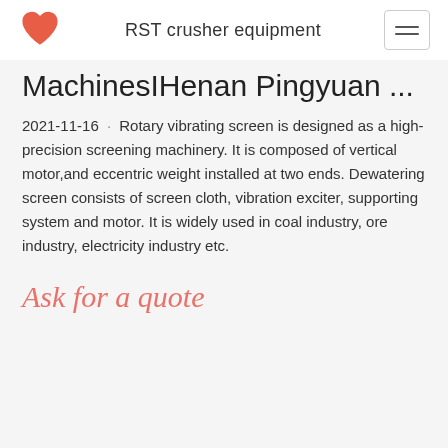RST crusher equipment
MachinesIHenan Pingyuan ...
2021-11-16 · Rotary vibrating screen is designed as a high-precision screening machinery. It is composed of vertical motor,and eccentric weight installed at two ends. Dewatering screen consists of screen cloth, vibration exciter, supporting system and motor. It is widely used in coal industry, ore industry, electricity industry etc.
Ask for a quote